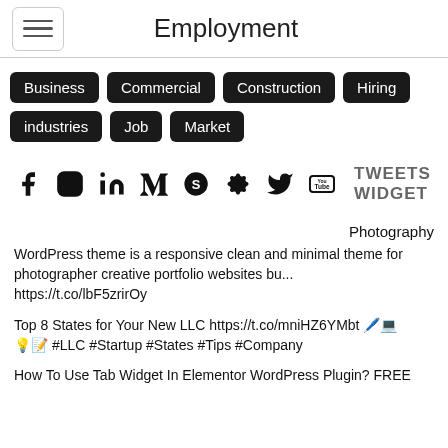Employment
Business
Commercial
Construction
Hiring
industries
Job
Market
[Figure (infographic): Social media icons row: Facebook, Instagram, LinkedIn, Medium, Skype, hashtag/settings, Twitter, YouTube, followed by TWEETS WIDGET label]
Photography
WordPress theme is a responsive clean and minimal theme for photographer creative portfolio websites bu...
https://t.co/lbF5zrirOy
Top 8 States for Your New LLC https://t.co/mniHZ6YMbt 🖊️💻💡📝 #LLC #Startup #States #Tips #Company
How To Use Tab Widget In Elementor WordPress Plugin? FREE